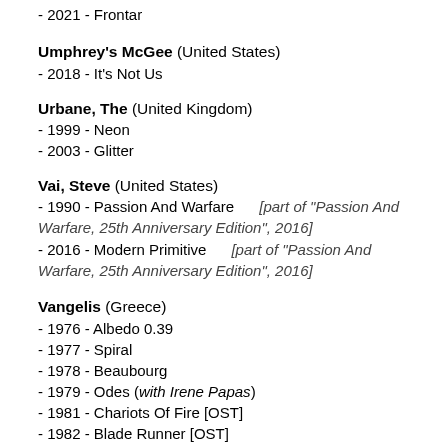- 2021 - Frontar
Umphrey's McGee (United States)
- 2018 - It's Not Us
Urbane, The (United Kingdom)
- 1999 - Neon
- 2003 - Glitter
Vai, Steve (United States)
- 1990 - Passion And Warfare    [part of "Passion And Warfare, 25th Anniversary Edition", 2016]
- 2016 - Modern Primitive    [part of "Passion And Warfare, 25th Anniversary Edition", 2016]
Vangelis (Greece)
- 1976 - Albedo 0.39
- 1977 - Spiral
- 1978 - Beaubourg
- 1979 - Odes (with Irene Papas)
- 1981 - Chariots Of Fire [OST]
- 1982 - Blade Runner [OST]
- 1983 - Antarctica [OST]
- 1992 - 1492: Conquest Of Paradise [OST]
- 1995 - Voices